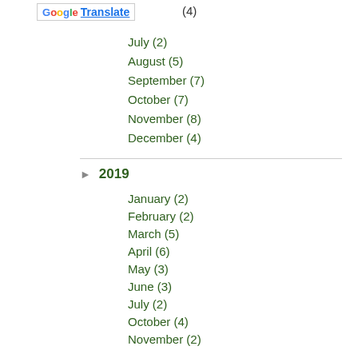[Figure (logo): Google Translate widget button]
(4)
July (2)
August (5)
September (7)
October (7)
November (8)
December (4)
2019
January (2)
February (2)
March (5)
April (6)
May (3)
June (3)
July (2)
October (4)
November (2)
December (4)
2018
February (1)
March (1)
May (1)